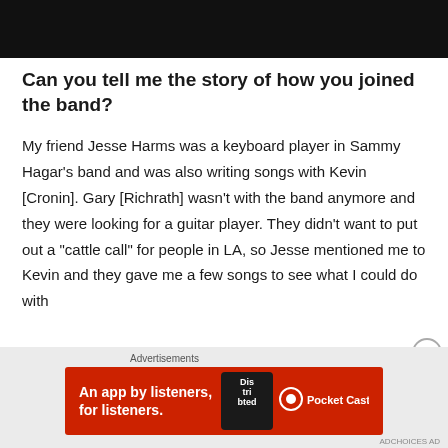[Figure (photo): Black header image bar at the top of the page]
Can you tell me the story of how you joined the band?
My friend Jesse Harms was a keyboard player in Sammy Hagar’s band and was also writing songs with Kevin [Cronin]. Gary [Richrath] wasn’t with the band anymore and they were looking for a guitar player. They didn’t want to put out a “cattle call” for people in LA, so Jesse mentioned me to Kevin and they gave me a few songs to see what I could do with
[Figure (screenshot): Advertisement banner: Pocket Casts app ad with red background reading 'An app by listeners, for listeners.' with Pocket Casts logo and phone graphic showing 'Dis tri buted']